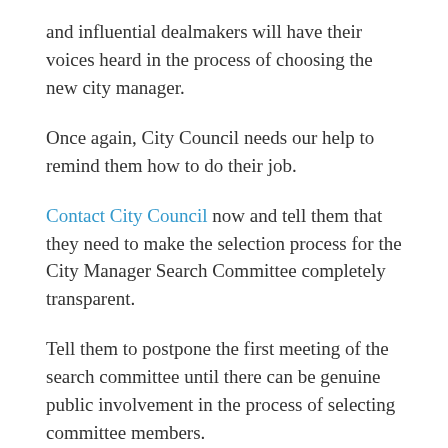and influential dealmakers will have their voices heard in the process of choosing the new city manager.
Once again, City Council needs our help to remind them how to do their job.
Contact City Council now and tell them that they need to make the selection process for the City Manager Search Committee completely transparent.
Tell them to postpone the first meeting of the search committee until there can be genuine public involvement in the process of selecting committee members.
Tell them to stop trying to rush through the most important hire the city will make this decade.
Tell them that we are paying attention, we see their